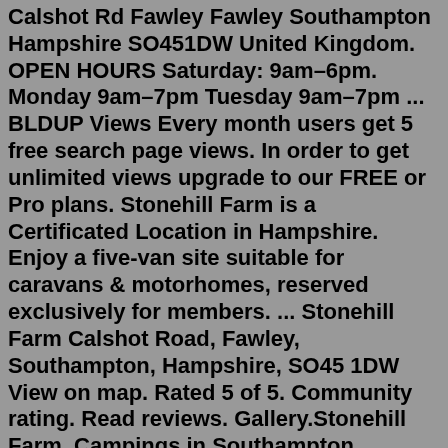Calshot Rd Fawley Fawley Southampton Hampshire SO451DW United Kingdom. OPEN HOURS Saturday: 9am–6pm. Monday 9am–7pm Tuesday 9am–7pm ... BLDUP Views Every month users get 5 free search page views. In order to get unlimited views upgrade to our FREE or Pro plans. Stonehill Farm is a Certificated Location in Hampshire. Enjoy a five-van site suitable for caravans & motorhomes, reserved exclusively for members. ... Stonehill Farm Calshot Road, Fawley, Southampton, Hampshire, SO45 1DW View on map. Rated 5 of 5. Community rating. Read reviews. Gallery.Stonehill Farm, Campings in Southampton, Hampshire. ... Stonehill Farm Calshot Road Fawley Southampton Hampshire ... Martins Farm (6.80 miles) Stonehill Farm, Campings in Southampton, Hampshire. ... Stonehill Farm Calshot Road Fawley Southampton Hampshire ... Martins Farm (6.80 miles) Due to a planned power outage on Friday, 1/14, between 8am-1pm PST, some services may be impacted. Stonehill Farm, Calshot Road, Fawley, Southampton, Hampshire, SO45 1DW